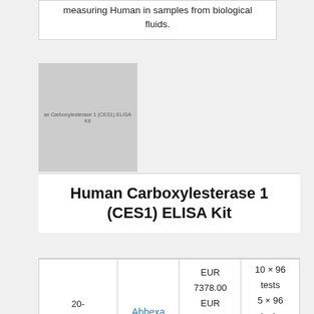measuring Human in samples from biological fluids.
[Figure (photo): Product image placeholder for Human Carboxylesterase 1 (CES1) ELISA Kit showing text label on gray background]
Human Carboxylesterase 1 (CES1) ELISA Kit
| SKU | Supplier | Price | Quantity |
| --- | --- | --- | --- |
| 20-abx156849 | Abbexa | EUR 7378.00
EUR 3933.00
EUR 911.00 | 10 × 96 tests
5 × 96 tests
96 tests |